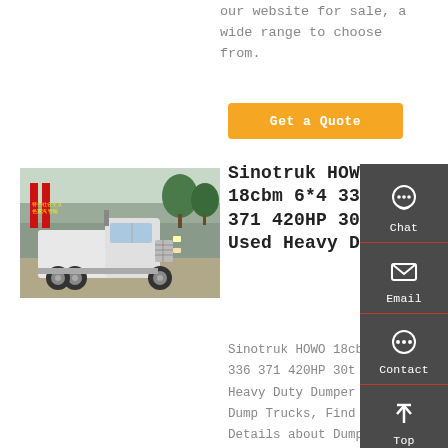our website for sale, a wide range to choose from.
Get a Quote
[Figure (photo): Sinotruk HOWO heavy duty dump truck parked in front of a building with Chinese signage and red banners]
Sinotruk HOWO 18cbm 6*4 336 371 420HP 30t Used Heavy Duty
Sinotruk HOWO 18cbm 6*4 336 371 420HP 30t Used Heavy Duty Dumper Tipper Dump Trucks, Find Details about Dump Lorry, Dump Tipper Semi